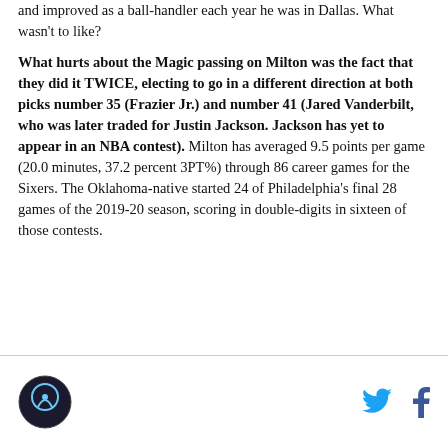and improved as a ball-handler each year he was in Dallas. What wasn't to like?
What hurts about the Magic passing on Milton was the fact that they did it TWICE, electing to go in a different direction at both picks number 35 (Frazier Jr.) and number 41 (Jared Vanderbilt, who was later traded for Justin Jackson. Jackson has yet to appear in an NBA contest). Milton has averaged 9.5 points per game (20.0 minutes, 37.2 percent 3PT%) through 86 career games for the Sixers. The Oklahoma-native started 24 of Philadelphia's final 28 games of the 2019-20 season, scoring in double-digits in sixteen of those contests.
[logo] [twitter] [facebook]